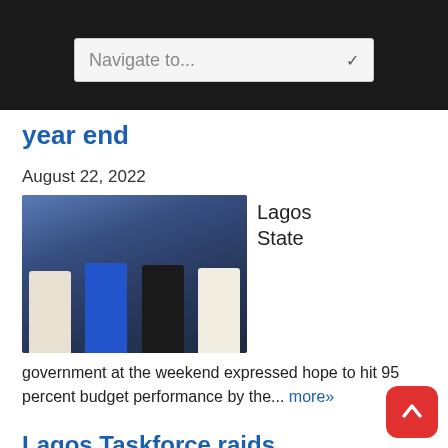Navigate to...
year end
August 22, 2022
[Figure (photo): Four men in traditional Nigerian attire standing together for a photo in front of a blue and red decorated background. One man wears coral beads, one is in blue robes, one in dark clothing, and one in white robes with a cane.]
Lagos State
government at the weekend expressed hope to hit 95 percent budget performance by the... more»
Lagos Taskforce raids rebellious okada